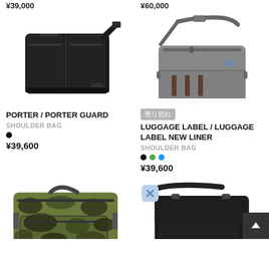¥39,000
¥60,000
[Figure (photo): Black leather double-pocket shoulder bag (PORTER GUARD)]
[Figure (photo): Gray messenger/shoulder bag with blue X mark (LUGGAGE LABEL NEW LINER)]
売り切れ
PORTER / PORTER GUARD
SHOULDER BAG
¥39,600
LUGGAGE LABEL / LUGGAGE LABEL NEW LINER
SHOULDER BAG
¥39,600
[Figure (photo): Camouflage pattern large shoulder/duffel bag]
[Figure (photo): Black leather shoulder bag (partially visible)]